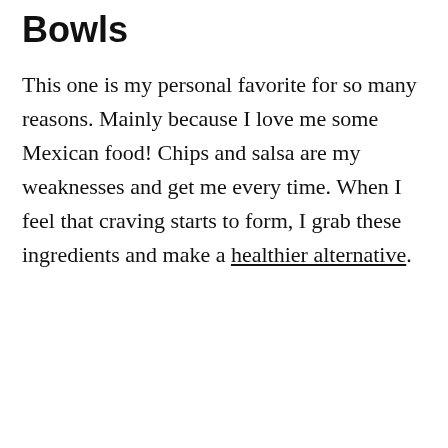Bowls
This one is my personal favorite for so many reasons. Mainly because I love me some Mexican food! Chips and salsa are my weaknesses and get me every time. When I feel that craving starts to form, I grab these ingredients and make a healthier alternative.